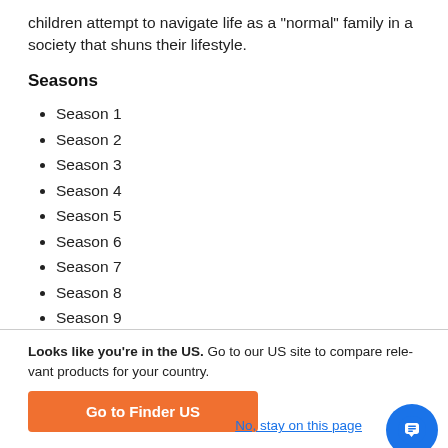children attempt to navigate life as a "normal" family in a society that shuns their lifestyle.
Seasons
Season 1
Season 2
Season 3
Season 4
Season 5
Season 6
Season 7
Season 8
Season 9
Season 10
Looks like you're in the US. Go to our US site to compare rele... products for your country.
Go to Finder US
No, stay on this page